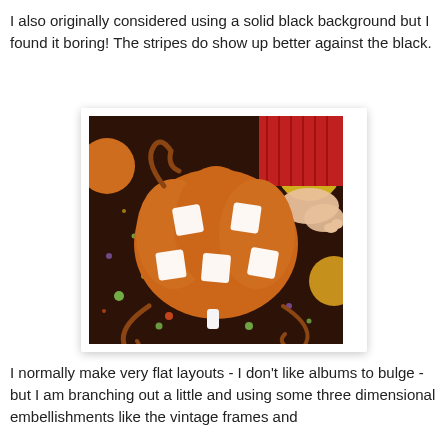I also originally considered using a solid black background but I found it boring!  The stripes do show up better against the black.
[Figure (photo): Photo of an orange pumpkin-shaped felt or foam craft piece with white square embellishments/frames attached to it, placed on a dark speckled background with colorful paint splatters. Other pumpkins and a person's arm are visible in the background.]
I normally make very flat layouts - I don't like albums to bulge - but I am branching out a little and using some three dimensional embellishments like the vintage frames and